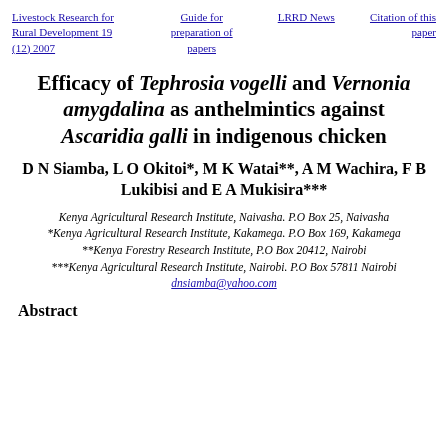Livestock Research for Rural Development 19 (12) 2007 | Guide for preparation of papers | LRRD News | Citation of this paper
Efficacy of Tephrosia vogelli and Vernonia amygdalina as anthelmintics against Ascaridia galli in indigenous chicken
D N Siamba, L O Okitoi*, M K Watai**, A M Wachira, F B Lukibisi and E A Mukisira***
Kenya Agricultural Research Institute, Naivasha. P.O Box 25, Naivasha
*Kenya Agricultural Research Institute, Kakamega. P.O Box 169, Kakamega
**Kenya Forestry Research Institute, P.O Box 20412, Nairobi
***Kenya Agricultural Research Institute, Nairobi. P.O Box 57811 Nairobi
dnsiamba@yahoo.com
Abstract